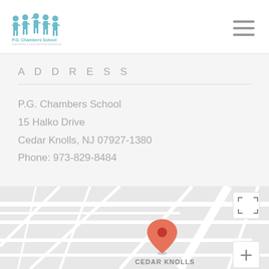[Figure (logo): P.G. Chambers School logo with human figure icons in teal/blue]
ADDRESS
P.G. Chambers School
15 Halko Drive
Cedar Knolls, NJ 07927-1380
Phone: 973-829-8484
[Figure (map): Google Maps screenshot showing Cedar Knolls area with a red location pin marker and label 'CEDAR KNOLLS'. Road 'S Jefferson Rd' visible. Map controls including fullscreen and zoom buttons visible.]